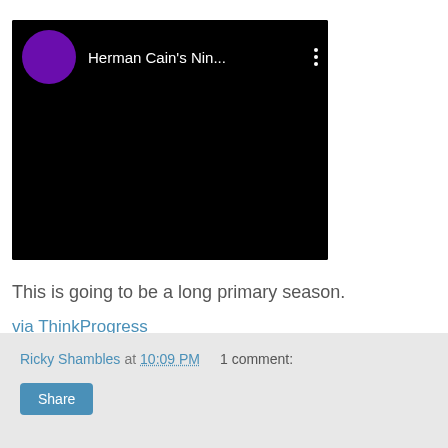[Figure (screenshot): Embedded video thumbnail showing a black background with a purple circle avatar and the title 'Herman Cain's Nin...' with a three-dot menu icon]
This is going to be a long primary season.
via ThinkProgress
Ricky Shambles at 10:09 PM    1 comment:    Share